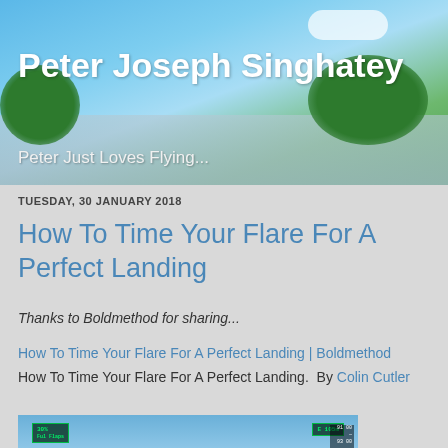Peter Joseph Singhatey
Peter Just Loves Flying...
TUESDAY, 30 JANUARY 2018
How To Time Your Flare For A Perfect Landing
Thanks to Boldmethod for sharing...
How To Time Your Flare For A Perfect Landing | Boldmethod
How To Time Your Flare For A Perfect Landing.  By Colin Cutler
[Figure (screenshot): Flight simulator screenshot showing cockpit HUD with runway approach, mountains in background, altitude and speed tapes visible]